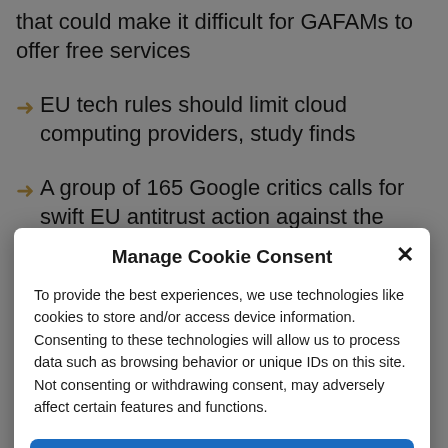that could make it difficult for GAFAMs to offer free services
EU tech rules should limit cloud computing providers, study finds
A group of 165 Google critics calls for swift EU antitrust action against the company in
Manage Cookie Consent
To provide the best experiences, we use technologies like cookies to store and/or access device information. Consenting to these technologies will allow us to process data such as browsing behavior or unique IDs on this site. Not consenting or withdrawing consent, may adversely affect certain features and functions.
Accept
Cookie Policy